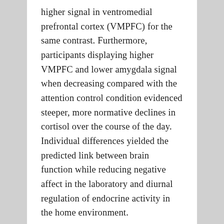higher signal in ventromedial prefrontal cortex (VMPFC) for the same contrast. Furthermore, participants displaying higher VMPFC and lower amygdala signal when decreasing compared with the attention control condition evidenced steeper, more normative declines in cortisol over the course of the day. Individual differences yielded the predicted link between brain function while reducing negative affect in the laboratory and diurnal regulation of endocrine activity in the home environment.
Amygdala, Cortisol, Davidson lab, emotion regulation, Negative affect, pupil dilation